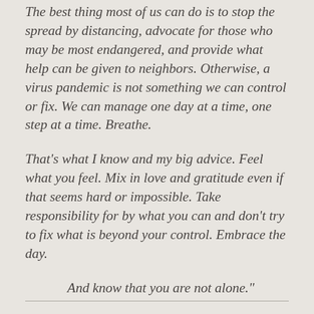The best thing most of us can do is to stop the spread by distancing, advocate for those who may be most endangered, and provide what help can be given to neighbors.  Otherwise, a virus pandemic is not something we can control or fix. We can manage one day at a time, one step at a time. Breathe.
That's what I know and my big advice.  Feel what you feel.  Mix in love and gratitude even if that seems hard or impossible.  Take responsibility for by what you can and don't try to fix what is beyond your control.  Embrace the day.
And know that you are not alone.”